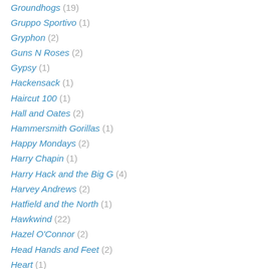Groundhogs (19)
Gruppo Sportivo (1)
Gryphon (2)
Guns N Roses (2)
Gypsy (1)
Hackensack (1)
Haircut 100 (1)
Hall and Oates (2)
Hammersmith Gorillas (1)
Happy Mondays (2)
Harry Chapin (1)
Harry Hack and the Big G (4)
Harvey Andrews (2)
Hatfield and the North (1)
Hawkwind (22)
Hazel O'Connor (2)
Head Hands and Feet (2)
Heart (1)
Heartbreakers (1)
Heavy Metal Kids (6)